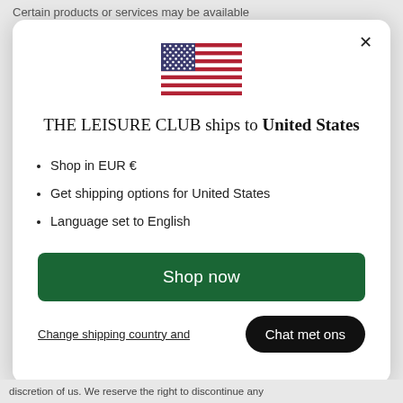Certain products or services may be available
[Figure (screenshot): Modal dialog popup showing a US flag icon, title 'THE LEISURE CLUB ships to United States', bullet list with shopping options, a green 'Shop now' button, a 'Change shipping country and...' link, and a black 'Chat met ons' button.]
discretion of us. We reserve the right to discontinue any